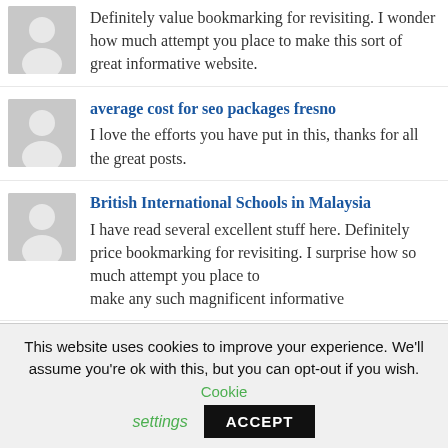Definitely value bookmarking for revisiting. I wonder how much attempt you place to make this sort of great informative website.
average cost for seo packages fresno
I love the efforts you have put in this, thanks for all the great posts.
British International Schools in Malaysia
I have read several excellent stuff here. Definitely price bookmarking for revisiting. I surprise how so much attempt you place to make any such magnificent informative
This website uses cookies to improve your experience. We'll assume you're ok with this, but you can opt-out if you wish. Cookie settings ACCEPT